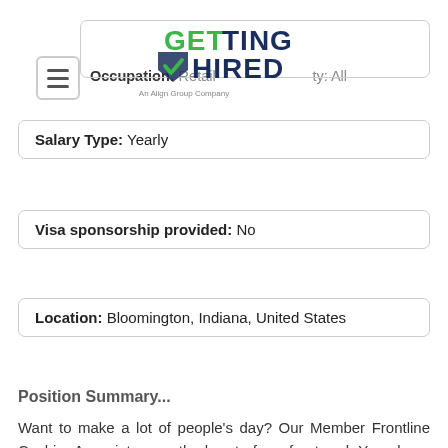Occupation: Retail   ty: All
[Figure (logo): Getting Hired logo - An Align Group Company]
Salary Type: Yearly
Visa sponsorship provided: No
Location: Bloomington, Indiana, United States
Position Summary...
Want to make a lot of people's day? Our Member Frontline Cashier Associates are the heart of our front end. You play a major role in how our members feel in the club and when they leave. You might be the first, last, and sometimes only associate that our members interact with. That's why it's so important to smile, greet, and thank each and every one. We are looking for friendly faces to run registers and support our members through the self-checkout experience! The pace can be